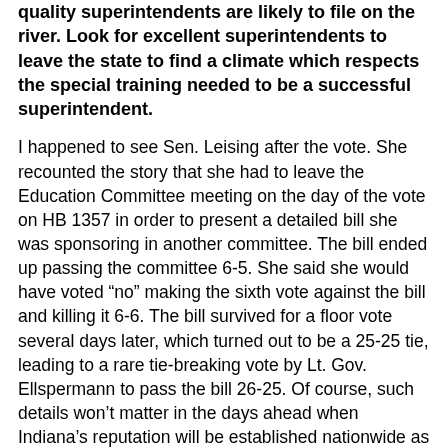quality superintendents are likely to file on the river. Look for excellent superintendents to leave the state to find a climate which respects the special training needed to be a successful superintendent.
I happened to see Sen. Leising after the vote. She recounted the story that she had to leave the Education Committee meeting on the day of the vote on HB 1357 in order to present a detailed bill she was sponsoring in another committee. The bill ended up passing the committee 6-5. She said she would have voted “no” making the sixth vote against the bill and killing it 6-6. The bill survived for a floor vote several days later, which turned out to be a 25-25 tie, leading to a rare tie-breaking vote by Lt. Gov. Ellspermann to pass the bill 26-25. Of course, such details won’t matter in the days ahead when Indiana’s reputation will be established nationwide as a place that doesn’t respect the need for training to be a superintendent.
House Bill 1338 – Now the Home of One Version of A-F Revision Language
The conference committee meeting was held this morning